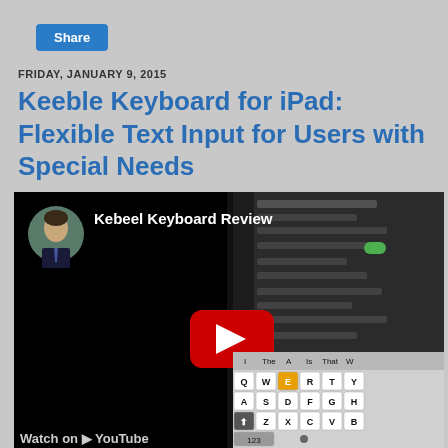Share
FRIDAY, JANUARY 9, 2015
Keeble Keyboard for iPad: Flexible Text Input for Users with Special Needs
[Figure (screenshot): YouTube video thumbnail for 'Kebeel Keyboard Review' showing a man in a suit as the channel avatar, with a YouTube play button overlay. The right half shows an iPad with keyboard settings and the Keeble keyboard layout visible, showing QWERTY rows.]
Watch on YouTube